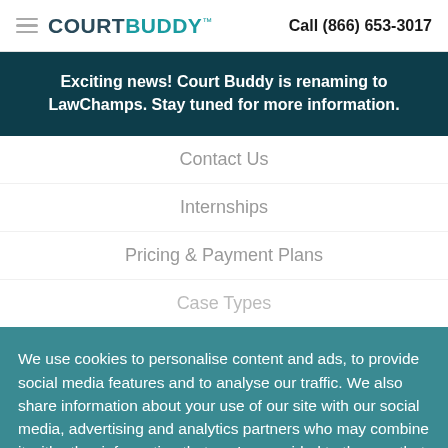COURTBUDDY™   Call (866) 653-3017
Exciting news! Court Buddy is renaming to LawChamps. Stay tuned for more information.
Contact Us
Internships
Pricing & Payment Plans
Case Types
We use cookies to personalise content and ads, to provide social media features and to analyse our traffic. We also share information about your use of our site with our social media, advertising and analytics partners who may combine it with other information that you've provided to them or that they've collected from your use of their services
Accept   Decline